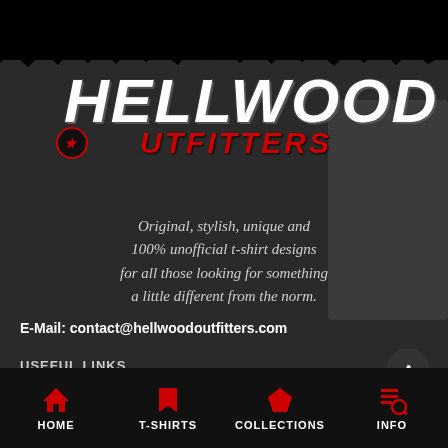[Figure (logo): Hellwood Outfitters logo with distressed white block text for HELLWOOD and red text for OUTFITTERS with a star-circle O emblem]
Original, stylish, unique and 100% unofficial t-shirt designs for all those looking for something a little different from the norm.
E-Mail: contact@hellwoodoutfitters.com
USEFUL LINKS
About Us
DMCA
HOME  T-SHIRTS  COLLECTIONS  INFO